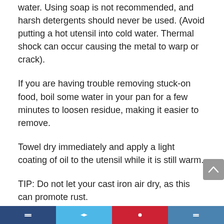water. Using soap is not recommended, and harsh detergents should never be used. (Avoid putting a hot utensil into cold water. Thermal shock can occur causing the metal to warp or crack).
If you are having trouble removing stuck-on food, boil some water in your pan for a few minutes to loosen residue, making it easier to remove.
Towel dry immediately and apply a light coating of oil to the utensil while it is still warm.
TIP: Do not let your cast iron air dry, as this can promote rust.
Store in a cool, dry place. If you have a cover, or lid, for your